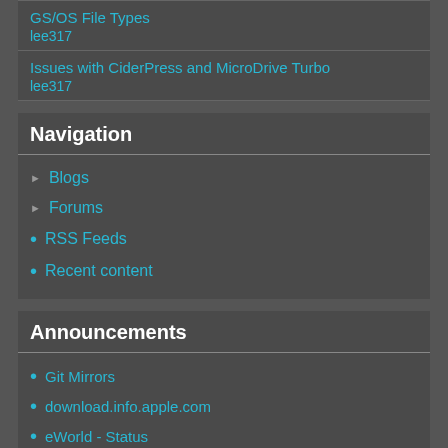GS/OS File Types
lee317
Issues with CiderPress and MicroDrive Turbo
lee317
Navigation
Blogs
Forums
RSS Feeds
Recent content
Announcements
Git Mirrors
download.info.apple.com
eWorld - Status
Applefritter BBS launched